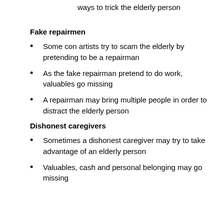ways to trick the elderly person
Fake repairmen
Some con artists try to scam the elderly by pretending to be a repairman
As the fake repairman pretend to do work, valuables go missing
A repairman may bring multiple people in order to distract the elderly person
Dishonest caregivers
Sometimes a dishonest caregiver may try to take advantage of an elderly person
Valuables, cash and personal belonging may go missing